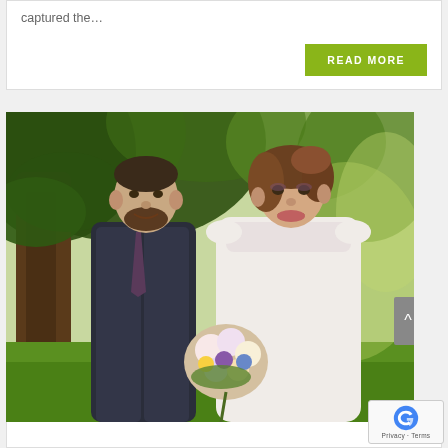captured the…
READ MORE
[Figure (photo): Wedding photo of a groom and bride standing outdoors in front of a large tree. The groom is on the left wearing a dark suit with a beard and short hair. The bride is on the right in a white dress holding a colorful bouquet of flowers. Green grass and garden scenery in the background.]
Privacy · Terms